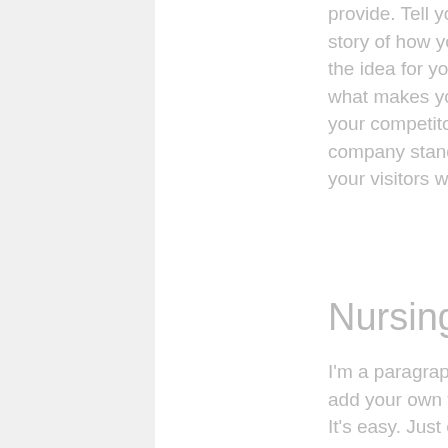provide. Tell your visitors the story of how you came up with the idea for your business and what makes you different from your competitors. Make your company stand out and show your visitors who you are.
Nursing Visits
I'm a paragraph. Click here to add your own text and edit me. It's easy. Just click “Edit Text” or double click me to add your own content and make changes to the font. Feel free to drag and drop me anywhere you like on your page. I'm a great place for you to tell a story and let your users know a little more about you.
Specialist Services
I'm a paragraph. Click here to add your own text and edit me. It's easy. Just click